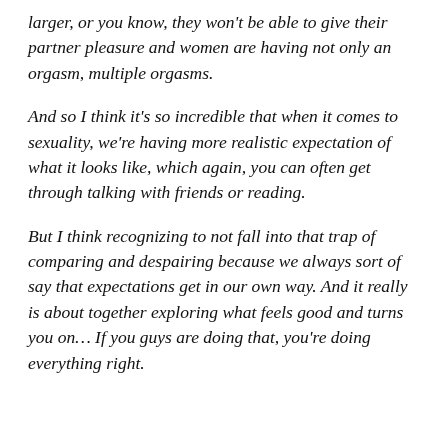larger, or you know, they won't be able to give their partner pleasure and women are having not only an orgasm, multiple orgasms.
And so I think it's so incredible that when it comes to sexuality, we're having more realistic expectation of what it looks like, which again, you can often get through talking with friends or reading.
But I think recognizing to not fall into that trap of comparing and despairing because we always sort of say that expectations get in our own way. And it really is about together exploring what feels good and turns you on… If you guys are doing that, you're doing everything right.